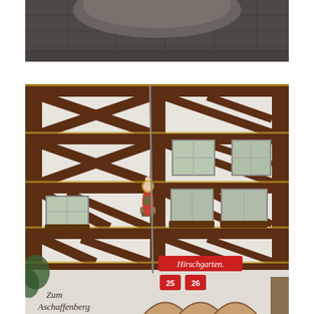[Figure (photo): Top portion of a historic German town square or street scene, showing stone paving and partial view of a monument or fountain base in dark/grey tones.]
[Figure (photo): A traditional German half-timbered building (Fachwerk) with dark brown wooden beams and white plaster infill, decorated with golden/yellow outlines on the beams. A colorful Madonna and Child statue is mounted on the corner of the building. A red street sign reads 'Hirschgarten'. Numbers '25 26' appear in red on the facade. Text at the bottom left reads 'Zum Aschaffenberg'. The building has multiple windows with flower boxes.]